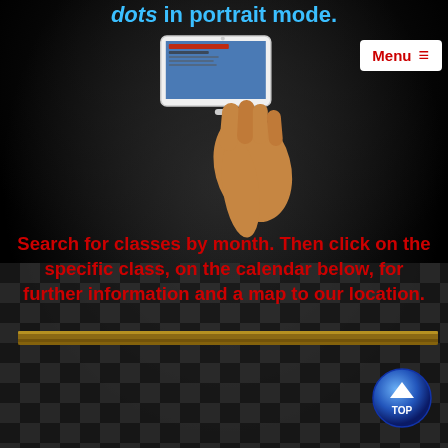dots in portrait mode.
[Figure (screenshot): Menu button with hamburger icon in white box, top right]
[Figure (photo): A hand holding a smartphone in landscape/portrait mode showing a business card or class information screen]
Search for classes by month. Then click on the specific class, on the calendar below, for further information and a map to our location.
[Figure (illustration): Checkered dark floor with a wooden plank/beam and a blue 'TOP' scroll-to-top button in the bottom right corner]